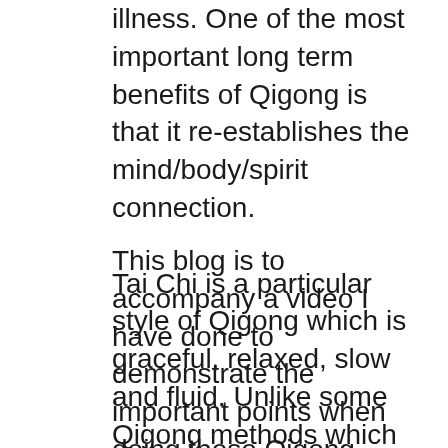illness. One of the most important long term benefits of Qigong is that it re-establishes the mind/body/spirit connection. Tai Chi is a particular style of Qigong which is graceful, relaxed, slow and fluid. Unlike some Qigong methods which exercise specific systems or parts of the body – nervous system, endocrine system, heart, kidneys – Qigong is a whole body, whole mind exercise.
This blog is to accompany a video I have done to demonstrate the important points when doing these Qigong exercises for yourself. All that is needed is the space where you stand and time. With practice, build up to 30 minutes. Every day is best, twice a day if you can manage. To see any benefit it is best